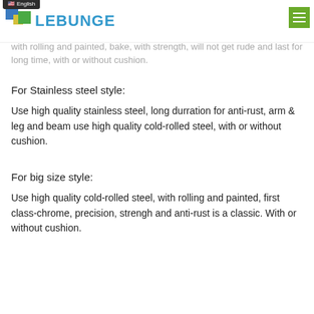LEBUNGE
with rolling and painted, bake, with strength, will not get rude and last for long time, with or without cushion.
For Stainless steel style:
Use high quality stainless steel, long durration for anti-rust, arm & leg and beam use high quality cold-rolled steel, with or without cushion.
For big size style:
Use high quality cold-rolled steel, with rolling and painted, first class-chrome, precision, strengh and anti-rust is a classic. With or without cushion.